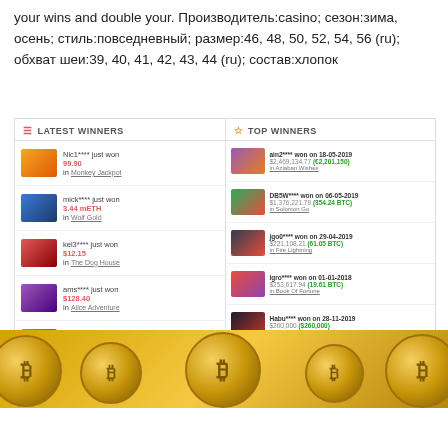your wins and double your. Производитель:casino; сезон:зима, осень; стиль:повседневный; размер:46, 48, 50, 52, 54, 56 (ru); обхват шеи:39, 40, 41, 42, 43, 44 (ru); состав:хлопок
[Figure (screenshot): Casino winners widget with two panels: Latest Winners (left) and Top Winners (right), showing game thumbnails, usernames, and amounts won.]